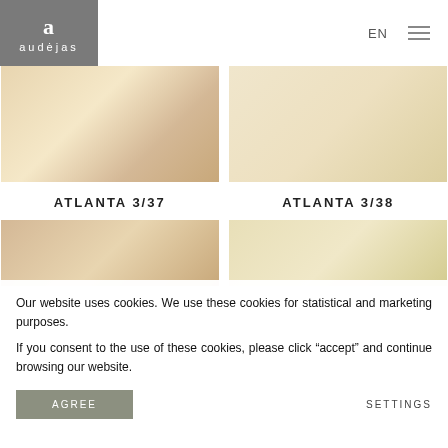[Figure (logo): Audėjas logo — stylized letter 'a' in white on grey background with brand name 'audėjas' below in white letters]
EN
[Figure (photo): Close-up photo of light beige/cream fabric with subtle texture and shadow — ATLANTA 3/37]
[Figure (photo): Close-up photo of light cream/ivory fabric with subtle texture and shadow — ATLANTA 3/38]
ATLANTA 3/37
ATLANTA 3/38
[Figure (photo): Close-up photo of light beige fabric partially visible at bottom of page]
[Figure (photo): Close-up photo of golden/wheat fabric partially visible at bottom of page]
Our website uses cookies. We use these cookies for statistical and marketing purposes.

If you consent to the use of these cookies, please click “accept” and continue browsing our website.
AGREE
SETTINGS